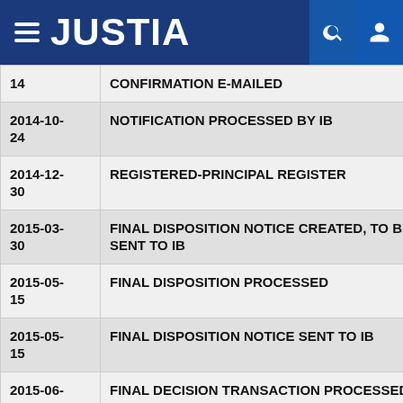JUSTIA
| Date | Event |
| --- | --- |
| 14 | CONFIRMATION E-MAILED |
| 2014-10-24 | NOTIFICATION PROCESSED BY IB |
| 2014-12-30 | REGISTERED-PRINCIPAL REGISTER |
| 2015-03-30 | FINAL DISPOSITION NOTICE CREATED, TO BE SENT TO IB |
| 2015-05-15 | FINAL DISPOSITION PROCESSED |
| 2015-05-15 | FINAL DISPOSITION NOTICE SENT TO IB |
| 2015-06-07 | FINAL DECISION TRANSACTION PROCESSED BY IB |
| 2019-12- | COURTESY REMINDER - SEC. 71 (6-YR) E-MAILED |